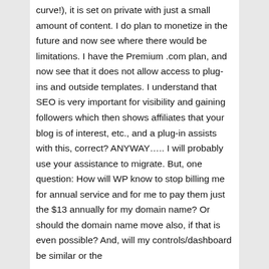curve!), it is set on private with just a small amount of content. I do plan to monetize in the future and now see where there would be limitations. I have the Premium .com plan, and now see that it does not allow access to plug-ins and outside templates. I understand that SEO is very important for visibility and gaining followers which then shows affiliates that your blog is of interest, etc., and a plug-in assists with this, correct? ANYWAY….. I will probably use your assistance to migrate. But, one question: How will WP know to stop billing me for annual service and for me to pay them just the $13 annually for my domain name? Or should the domain name move also, if that is even possible? And, will my controls/dashboard be similar or the